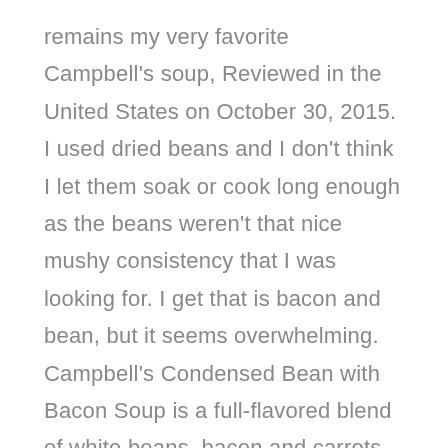remains my very favorite Campbell's soup, Reviewed in the United States on October 30, 2015. I used dried beans and I don't think I let them soak or cook long enough as the beans weren't that nice mushy consistency that I was looking for. I get that is bacon and bean, but it seems overwhelming. Campbell's Condensed Bean with Bacon Soup is a full-flavored blend of white beans, bacon and carrots in a savory tomato puree. Nutrition . campbells healthy request tomato condensed soup, water, cannellini beans, rinsed and drained, dried onion flakes, garlic powder ... condensed bean with bacon soup, pace thick & chunky salsa, swanson premium chunk chicken breast in water, drained, flour tortillas, warmed. The Healthiest and Unhealthiest Campbell's Soups (Slideshow) February 11, 2014. The item you've selected was not added